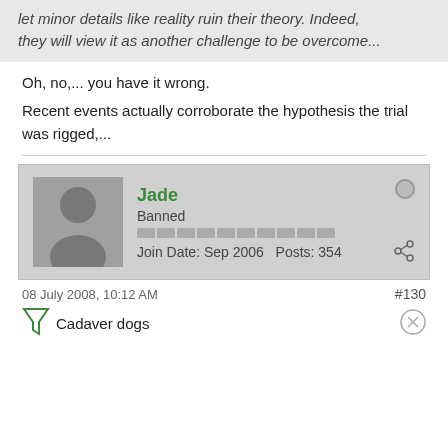let minor details like reality ruin their theory. Indeed, they will view it as another challenge to be overcome...
Oh, no,... you have it wrong.
Recent events actually corroborate the hypothesis the trial was rigged,...
Jade
Banned
Join Date: Sep 2006    Posts: 354
08 July 2008, 10:12 AM
#130
Cadaver dogs